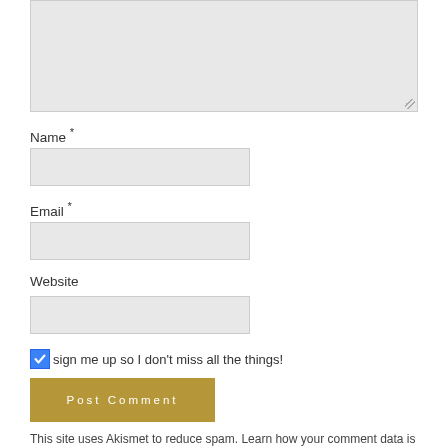[Figure (screenshot): Textarea input box, light grey background with resize handle at bottom-right corner]
Name *
[Figure (screenshot): Name input field, light grey rectangle]
Email *
[Figure (screenshot): Email input field, light grey rectangle]
Website
[Figure (screenshot): Website input field, light grey rectangle]
sign me up so I don't miss all the things!
Post Comment
This site uses Akismet to reduce spam. Learn how your comment data is processed.